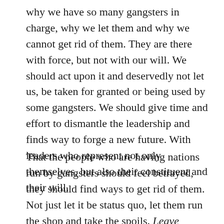why we have so many gangsters in charge, why we let them and why we cannot get rid of them. They are there with force, but not with our will. We should act upon it and deservedly not let us, be taken for granted or being used by some gangsters. We should give time and effort to dismantle the leadership and finds way to forge a new future. With leaders who represent not only themselves, but also their constituent and their will.
That the people who are having nations run by gangsters should feel betrayed, they should find ways to get rid of them. Not just let it be status quo, let them run the shop and take the spoils. Leave nothing behind, but stolen promises